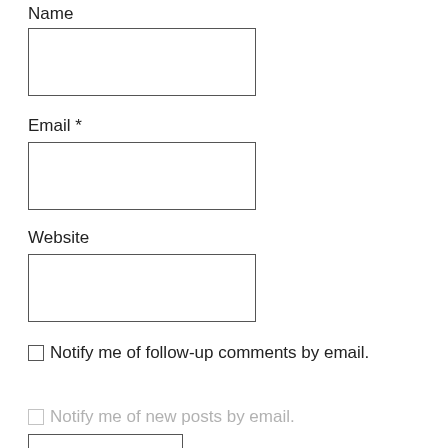Name
[Figure (other): Empty text input box for Name field]
Email *
[Figure (other): Empty text input box for Email field]
Website
[Figure (other): Empty text input box for Website field]
Notify me of follow-up comments by email.
Notify me of new posts by email.
[Figure (other): Empty button/input box at bottom]